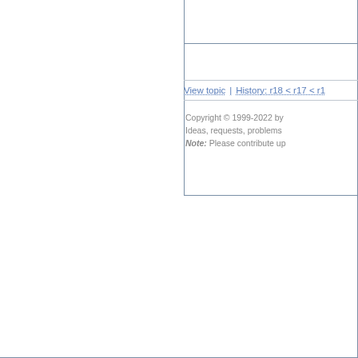[Figure (screenshot): Nested staircase border boxes forming a corner-step pattern from top-left, with a content area on the right showing navigation links (View topic | History: r18 < r17 < r1...) and copyright/footer text (Copyright © 1999-2022 by..., Ideas, requests, problems..., Note: Please contribute up...)]
View topic | History: r18 < r17 < r1...
Copyright © 1999-2022 by Ideas, requests, problems Note: Please contribute up